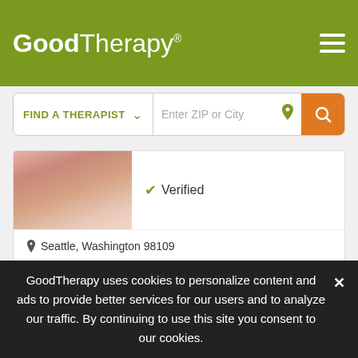GoodTherapy®
FIND A THERAPIST  Enter ZIP or City
[Figure (screenshot): Partial therapist profile photo showing person in pink/salmon colored top]
✓ Verified
Seattle, Washington 98109
A relationship in which one partner is autistic and the other is neurotypical can be lonely for both partners. You can feel isolated and hurt, which often leads to a fear that nothing can ever change for the
Email Me
206-539-0994
GoodTherapy uses cookies to personalize content and ads to provide better services for our users and to analyze our traffic. By continuing to use this site you consent to our cookies.